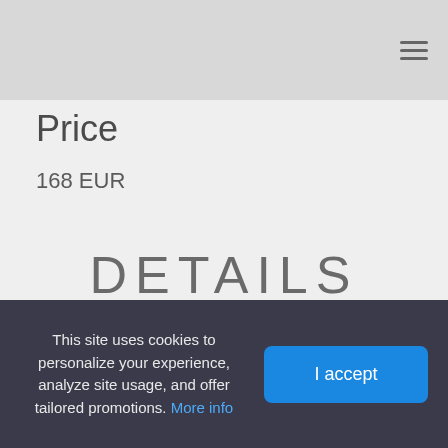Price
168 EUR
DETAILS
Storage
-20°C
This site uses cookies to personalize your experience, analyze site usage, and offer tailored promotions. More info
I accept